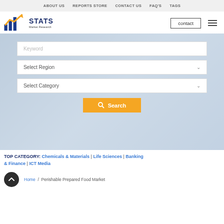ABOUT US | REPORTS STORE | CONTACT US | FAQ'S | TAGS
[Figure (logo): STATS Market Research logo with blue bar chart and gold arrow]
contact
Keyword
Select Region
Select Category
Search
TOP CATEGORY: Chemicals & Materials | Life Sciences | Banking & Finance | ICT Media
Home / Perishable Prepared Food Market